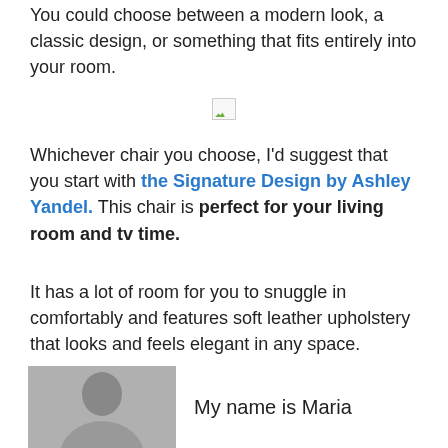You could choose between a modern look, a classic design, or something that fits entirely into your room.
[Figure (photo): Broken/missing image placeholder icon]
Whichever chair you choose, I'd suggest that you start with the Signature Design by Ashley Yandel. This chair is perfect for your living room and tv time.
It has a lot of room for you to snuggle in comfortably and features soft leather upholstery that looks and feels elegant in any space.
[Figure (photo): Grayscale portrait photo of a person (Maria)]
My name is Maria